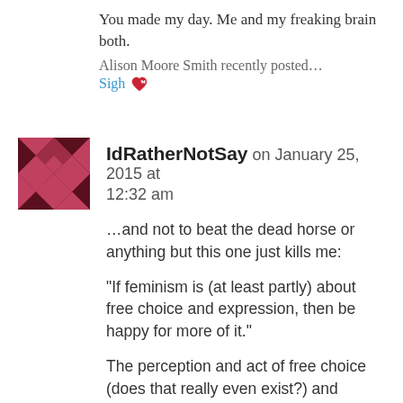You made my day. Me and my freaking brain both.
Alison Moore Smith recently posted…
Sigh
IdRatherNotSay on January 25, 2015 at 12:32 am
…and not to beat the dead horse or anything but this one just kills me:
“If feminism is (at least partly) about free choice and expression, then be happy for more of it.”
The perception and act of free choice (does that really even exist?) and expressing oneself is called “freshman year.” By the way, since when is abortion synonymous with self